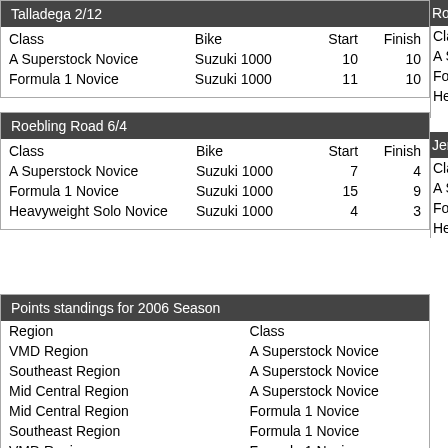Talladega 2/12
| Class | Bike | Start | Finish |
| --- | --- | --- | --- |
| A Superstock Novice | Suzuki 1000 | 10 | 10 |
| Formula 1 Novice | Suzuki 1000 | 11 | 10 |
Roebling Road 6/4
| Class | Bike | Start | Finish |
| --- | --- | --- | --- |
| A Superstock Novice | Suzuki 1000 | 7 | 4 |
| Formula 1 Novice | Suzuki 1000 | 15 | 9 |
| Heavyweight Solo Novice | Suzuki 1000 | 4 | 3 |
Points standings for 2006 Season
| Region | Class |
| --- | --- |
| VMD Region | A Superstock Novice |
| Southeast Region | A Superstock Novice |
| Mid Central Region | A Superstock Novice |
| Mid Central Region | Formula 1 Novice |
| Southeast Region | Formula 1 Novice |
| VMD Region | Formula 1 Novice |
Roebling (partial, right column)